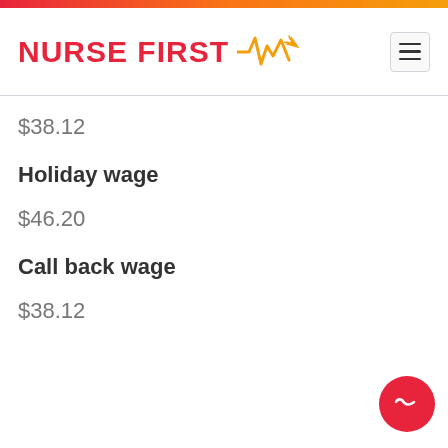[Figure (logo): Nurse First logo with heartbeat/plane icon and red text on white background with gradient top bar]
$38.12
Holiday wage
$46.20
Call back wage
$38.12